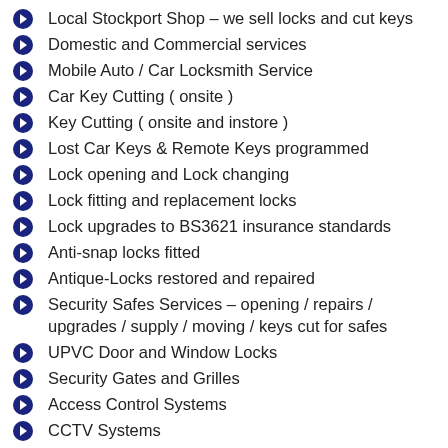Local Stockport Shop – we sell locks and cut keys
Domestic and Commercial services
Mobile Auto / Car Locksmith Service
Car Key Cutting ( onsite )
Key Cutting ( onsite and instore )
Lost Car Keys & Remote Keys programmed
Lock opening and Lock changing
Lock fitting and replacement locks
Lock upgrades to BS3621 insurance standards
Anti-snap locks fitted
Antique-Locks restored and repaired
Security Safes Services – opening / repairs / upgrades / supply / moving / keys cut for safes
UPVC Door and Window Locks
Security Gates and Grilles
Access Control Systems
CCTV Systems